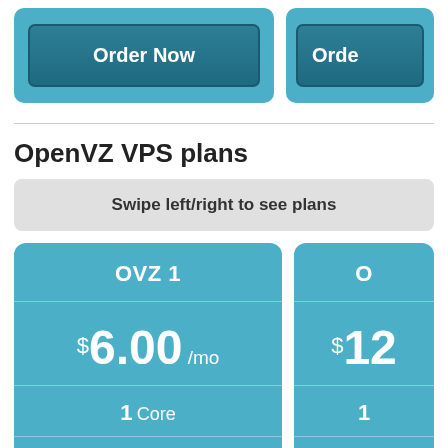[Figure (screenshot): Top section showing two plan cards with 'Order Now' buttons on a light blue background. The right card is partially cut off.]
OpenVZ VPS plans
Swipe left/right to see plans
[Figure (screenshot): Two VPS plan cards: OVZ 1 at $6.00/mo with 1 Core and 1 GB RAM (partially visible). Second card partially visible showing price starting with $12 and 1 core.]